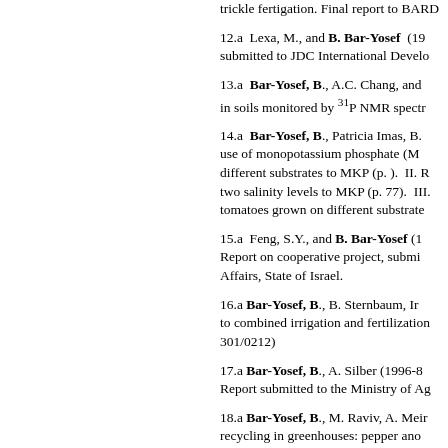trickle fertigation. Final report to BARD
12.a  Lexa, M., and B. Bar-Yosef (19... submitted to JDC International Develo...
13.a  Bar-Yosef, B., A.C. Chang, and... in soils monitored by 31P NMR spectr...
14.a  Bar-Yosef, B., Patricia Imas, B.... use of monopotassium phosphate (M... different substrates to MKP (p. ). II. R... two salinity levels to MKP (p. 77). III.... tomatoes grown on different substrate...
15.a  Feng, S.Y., and B. Bar-Yosef (1... Report on cooperative project, submi... Affairs, State of Israel.
16.a  Bar-Yosef, B., B. Sternbaum, Ir... to combined irrigation and fertilization... 301/0212)
17.a  Bar-Yosef, B., A. Silber (1996-8... Report submitted to the Ministry of Ag...
18.a  Bar-Yosef, B., M. Raviv, A. Meir... recycling in greenhouses: pepper ano... Chief Scientist, Ministry of Agriculture...
19.a  Bar-Yosef, B., M. Raviv, A. Meir... greenhouses in Israel: pepper, muskr... Chief Scientist, Ministry of Agriculture...